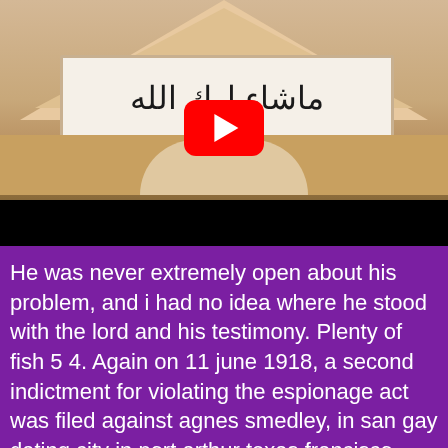[Figure (photo): Photo of a building entrance with Arabic inscription on a sign above an arched doorway with stone masonry, overlaid with a YouTube play button icon.]
He was never extremely open about his problem, and i had no idea where he stood with the lord and his testimony. Plenty of fish 5 4. Again on 11 june 1918, a second indictment for violating the espionage act was filed against agnes smedley, in san gay dating city in port arthur texas francisco, along with several indian